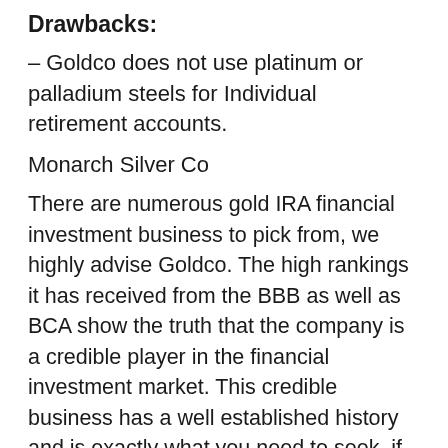Drawbacks:
– Goldco does not use platinum or palladium steels for Individual retirement accounts.
Monarch Silver Co
There are numerous gold IRA financial investment business to pick from, we highly advise Goldco. The high rankings it has received from the BBB as well as BCA show the truth that the company is a credible player in the financial investment market. This credible business has a well established history and is exactly what you need to seek, if you want to boost your riches with silver or gold.